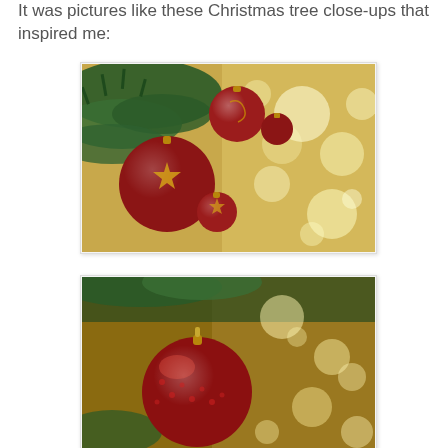It was pictures like these Christmas tree close-ups that inspired me:
[Figure (photo): Close-up photo of red Christmas ornaments with gold star decorations hanging on a green pine tree, with a warm golden bokeh background.]
[Figure (photo): Close-up photo of a large red Christmas ornament hanging on a pine tree with warm golden bokeh lights in the background.]